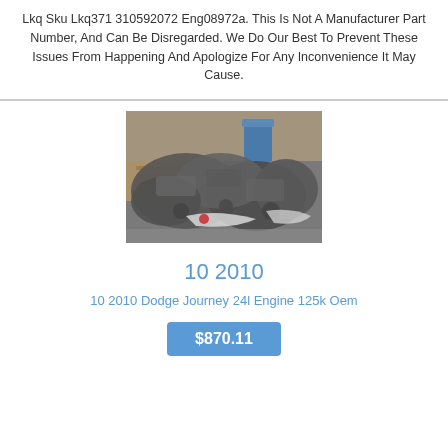Lkq Sku Lkq371 310592072 Eng08972a. This Is Not A Manufacturer Part Number, And Can Be Disregarded. We Do Our Best To Prevent These Issues From Happening And Apologize For Any Inconvenience It May Cause.
[Figure (photo): Photo of a pile of used automotive engines stacked in a warehouse setting]
10 2010
10 2010 Dodge Journey 24l Engine 125k Oem
$870.11